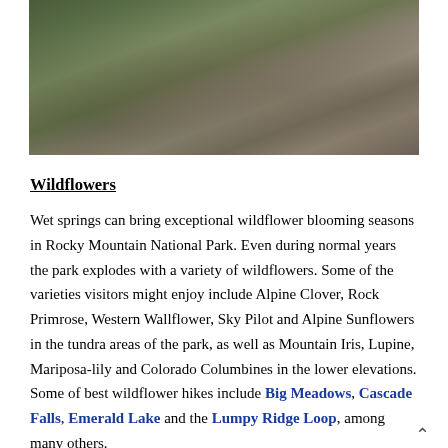[Figure (photo): Rocky mountain trail photograph showing a winding path through rocky alpine tundra terrain with sparse vegetation and brown grassy hillside]
Wildflowers
Wet springs can bring exceptional wildflower blooming seasons in Rocky Mountain National Park. Even during normal years the park explodes with a variety of wildflowers. Some of the varieties visitors might enjoy include Alpine Clover, Rock Primrose, Western Wallflower, Sky Pilot and Alpine Sunflowers in the tundra areas of the park, as well as Mountain Iris, Lupine, Mariposa-lily and Colorado Columbines in the lower elevations. Some of best wildflower hikes include Big Meadows, Cascade Falls, Emerald Lake and the Lumpy Ridge Loop, among many others.